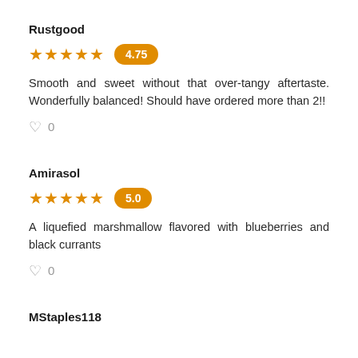Rustgood
4.75
Smooth and sweet without that over-tangy aftertaste. Wonderfully balanced! Should have ordered more than 2!!
0
Amirasol
5.0
A liquefied marshmallow flavored with blueberries and black currants
0
MStaples118